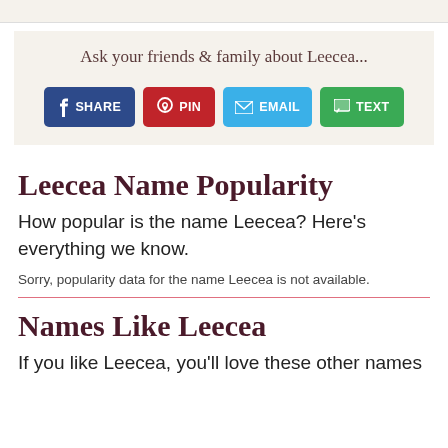Ask your friends & family about Leecea...
[Figure (infographic): Social sharing buttons: SHARE (Facebook, dark blue), PIN (Pinterest, red), EMAIL (blue), TEXT (green)]
Leecea Name Popularity
How popular is the name Leecea? Here's everything we know.
Sorry, popularity data for the name Leecea is not available.
Names Like Leecea
If you like Leecea, you'll love these other names